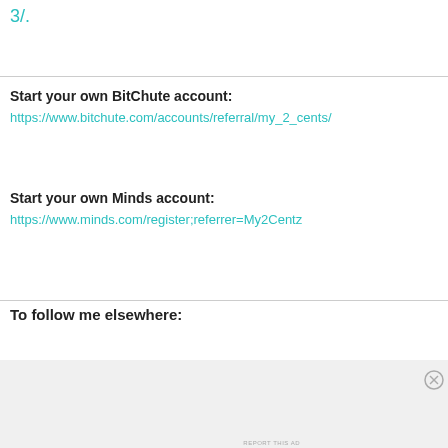3/.
Start your own BitChute account:
https://www.bitchute.com/accounts/referral/my_2_cents/
Start your own Minds account:
https://www.minds.com/register;referrer=My2Centz
To follow me elsewhere:
[Figure (screenshot): DuckDuckGo advertisement banner with orange background showing 'Search, browse, and email with more privacy. All in One Free App' with a phone mockup and DuckDuckGo logo.]